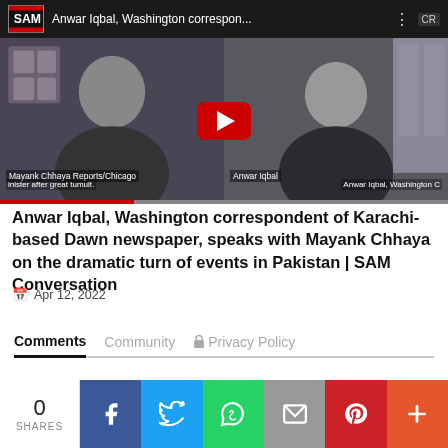[Figure (screenshot): YouTube video thumbnail showing two people in a split-screen video call. Left side shows a person labeled 'Mayank Chhaya Reports/Chicago', right side shows a person labeled 'Anwar Iqbal'. A red YouTube play button is centered. Video title bar at top reads 'Anwar Iqbal, Washington correspon...'. Bottom caption reads 'inister after great tumult.' on left and 'Anwar Iqbal, Washington C' on right.]
Anwar Iqbal, Washington correspondent of Karachi-based Dawn newspaper, speaks with Mayank Chhaya on the dramatic turn of events in Pakistan | SAM Conversation
Apr 12, 2022
Comments  Community  Privacy Policy
0 SHARES